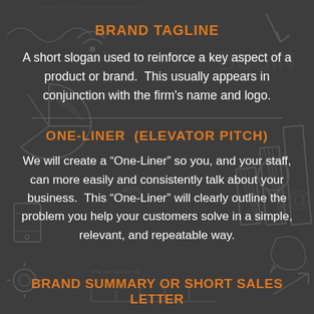BRAND TAGLINE
A short slogan used to reinforce a key aspect of a product or brand.  This usually appears in conjunction with the firm’s name and logo.
ONE-LINER  (ELEVATOR PITCH)
We will create a “One-Liner” so you, and your staff, can more easily and consistently talk about your business.  This “One-Liner” will clearly outline the problem you help your customers solve in a simple, relevant, and repeatable way.
BRAND SUMMARY or SHORT SALES LETTER